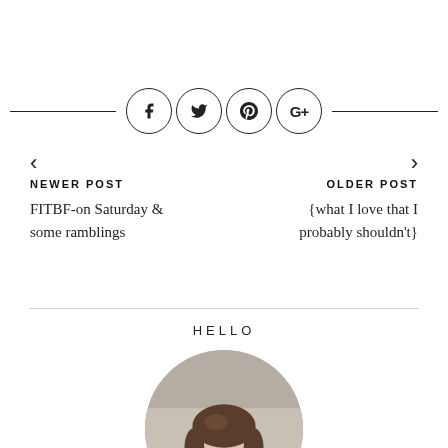[Figure (infographic): Social media share icons in circles (Facebook, Twitter, Pinterest, Google+) centered with horizontal lines on each side]
< NEWER POST
FITBF-on Saturday & some ramblings
> OLDER POST
{what I love that I probably shouldn't}
HELLO
[Figure (photo): Circular cropped portrait photo of a person with brown hair]